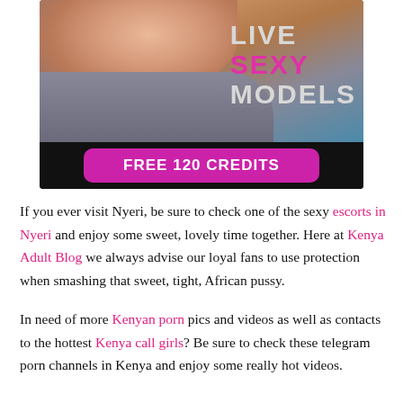[Figure (illustration): Adult content advertisement banner with image and 'LIVE SEXY MODELS' text overlay and 'FREE 120 CREDITS' pink button]
If you ever visit Nyeri, be sure to check one of the sexy escorts in Nyeri and enjoy some sweet, lovely time together. Here at Kenya Adult Blog we always advise our loyal fans to use protection when smashing that sweet, tight, African pussy.
In need of more Kenyan porn pics and videos as well as contacts to the hottest Kenya call girls? Be sure to check these telegram porn channels in Kenya and enjoy some really hot videos.